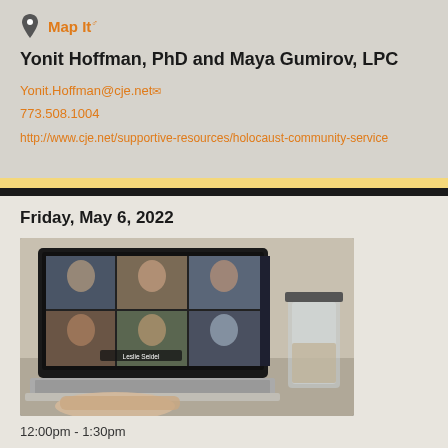Map It
Yonit Hoffman, PhD and Maya Gumirov, LPC
Yonit.Hoffman@cje.net
773.508.1004
http://www.cje.net/supportive-resources/holocaust-community-service
Friday, May 6, 2022
[Figure (photo): A laptop computer showing a video conference call with multiple participants on screen, with a hand typing on the keyboard and a glass jar in the background.]
12:00pm - 1:30pm